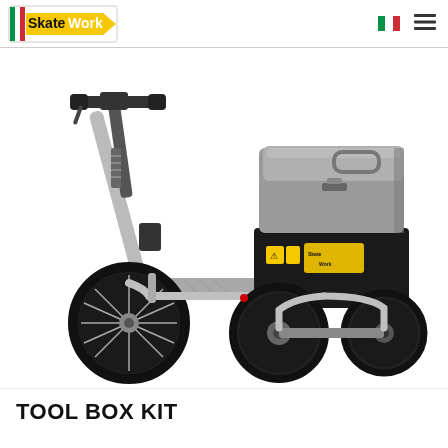SkateWork
[Figure (photo): An electric three-wheeled cargo scooter (SkateWork) with a large gray plastic tool box mounted on the rear cargo platform. The scooter has a chrome/silver frame, black handlebars, a diamond-plate footboard, one front spoked wheel and two rear solid wheels. The rear compartment is black with SkateWork branding stickers and warning labels.]
TOOL BOX KIT